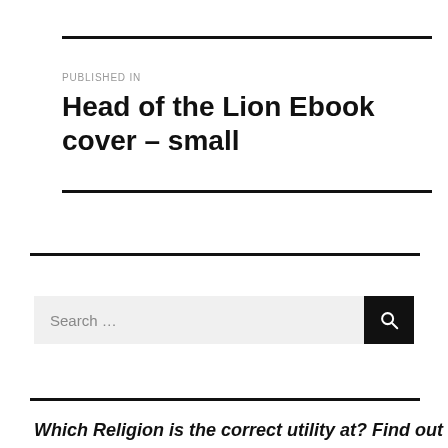PUBLISHED IN
Head of the Lion Ebook cover – small
Which Deligion is the correct utility at? Find out